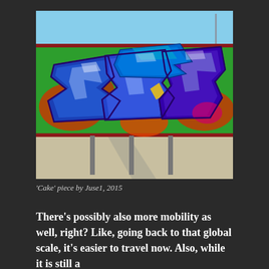[Figure (photo): Graffiti mural titled 'Cake' by Juse1, 2015. Large stylized blue and purple wildstyle graffiti letters on a green wall, with a blue sky and concrete ground visible. The letters are painted with shades of blue, purple, and teal with white highlights and dark outlines on a green background with orange and red splash elements.]
‘Cake’ piece by Juse1, 2015
There’s possibly also more mobility as well, right? Like, going back to that global scale, it’s easier to travel now. Also, while it is still a